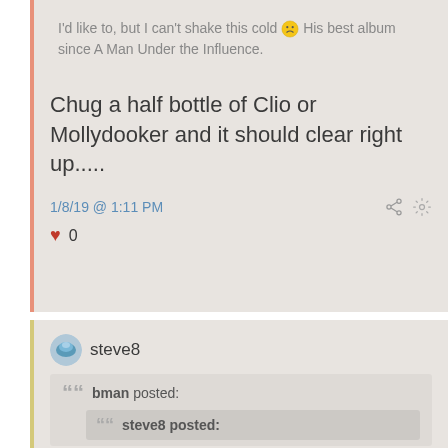I'd like to, but I can't shake this cold 😕 His best album since A Man Under the Influence.
Chug a half bottle of Clio or Mollydooker and it should clear right up.....
1/8/19 @ 1:11 PM
♥ 0
steve8
bman posted:
steve8 posted: